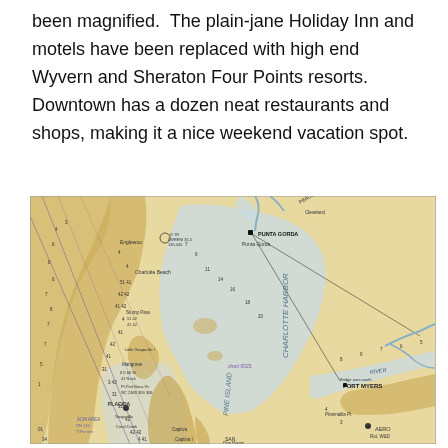been magnified.  The plain-jane Holiday Inn and motels have been replaced with high end Wyvern and Sheraton Four Points resorts.  Downtown has a dozen neat restaurants and shops, making it a nice weekend vacation spot.
[Figure (map): Nautical chart showing Charlotte Harbor area of Florida, including Punta Gorda, Fort Myers, Peace River, Caloosahatchee River, and surrounding waterways and coastal features.]